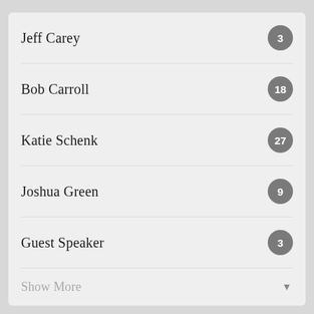Jeff Carey — 3
Bob Carroll — 18
Katie Schenk — 27
Joshua Green — 9
Guest Speaker — 3
Show More
2022 — 24
2021 — 51
2020 — 32